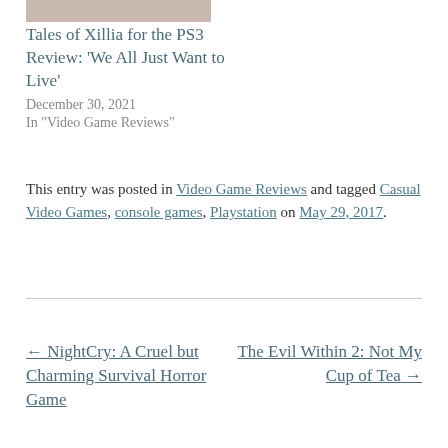[Figure (photo): Partial image at the top of the page (cropped)]
Tales of Xillia for the PS3 Review: 'We All Just Want to Live'
December 30, 2021
In "Video Game Reviews"
This entry was posted in Video Game Reviews and tagged Casual Video Games, console games, Playstation on May 29, 2017.
← NightCry: A Cruel but Charming Survival Horror Game
The Evil Within 2: Not My Cup of Tea →